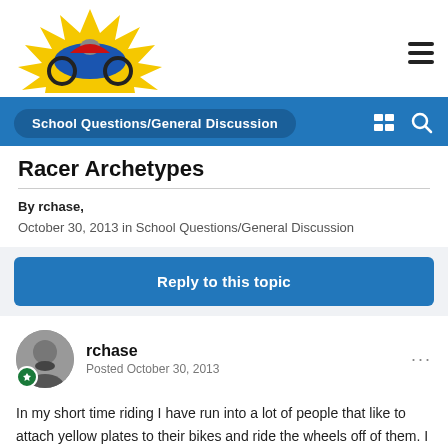[Figure (logo): Motorcycle forum logo with a racing motorcycle on a yellow starburst background]
School Questions/General Discussion
Racer Archetypes
By rchase,
October 30, 2013 in School Questions/General Discussion
Reply to this topic
rchase
Posted October 30, 2013
In my short time riding I have run into a lot of people that like to attach yellow plates to their bikes and ride the wheels off of them. I have noticed a couple of interesting personality